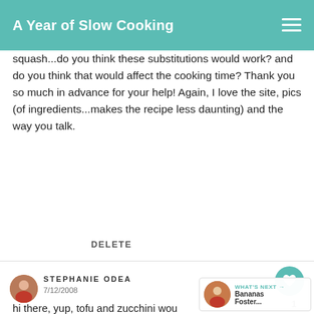A Year of Slow Cooking
squash...do you think these substitutions would work? and do you think that would affect the cooking time? Thank you so much in advance for your help! Again, I love the site, pics (of ingredients...makes the recipe less daunting) and the way you talk.
DELETE
STEPHANIE ODEA
7/12/2008
hi there, yup, tofu and zucchini would be great substitutions! The cooking time would need to be as long because you aren't cooking meat. But, at the same time, it isn't going to hurt the tofu or the veggies to cook them low and slow...